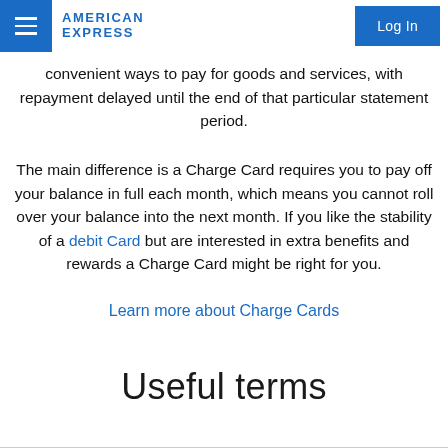American Express | Log In
convenient ways to pay for goods and services, with repayment delayed until the end of that particular statement period.
The main difference is a Charge Card requires you to pay off your balance in full each month, which means you cannot roll over your balance into the next month. If you like the stability of a debit Card but are interested in extra benefits and rewards a Charge Card might be right for you.
Learn more about Charge Cards
Useful terms